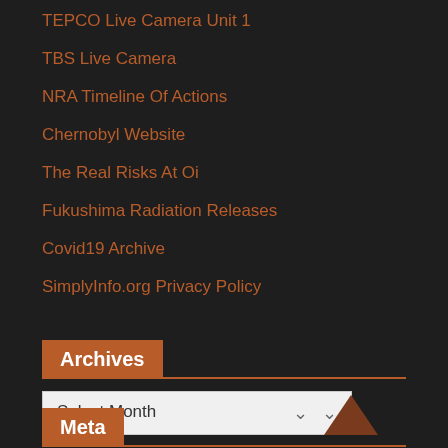TEPCO Live Camera Unit 1
TBS Live Camera
NRA Timeline Of Actions
Chernobyl Website
The Real Risks At Oi
Fukushima Radiation Releases
Covid19 Archive
SimplyInfo.org Privacy Policy
Archives
Select Month
Meta